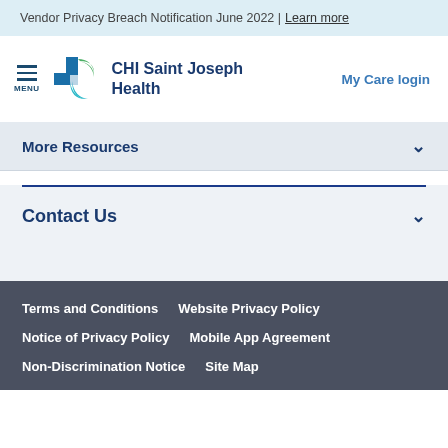Vendor Privacy Breach Notification June 2022 | Learn more
[Figure (logo): CHI Saint Joseph Health logo with teal and green cross/leaf icon, alongside menu hamburger icon and MENU label]
My Care login
More Resources
Contact Us
Terms and Conditions
Website Privacy Policy
Notice of Privacy Policy
Mobile App Agreement
Non-Discrimination Notice
Site Map